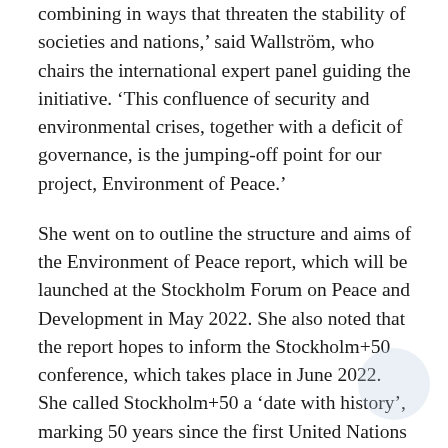combining in ways that threaten the stability of societies and nations,' said Wallström, who chairs the international expert panel guiding the initiative. 'This confluence of security and environmental crises, together with a deficit of governance, is the jumping-off point for our project, Environment of Peace.'
She went on to outline the structure and aims of the Environment of Peace report, which will be launched at the Stockholm Forum on Peace and Development in May 2022. She also noted that the report hopes to inform the Stockholm+50 conference, which takes place in June 2022. She called Stockholm+50 a 'date with history', marking 50 years since the first United Nations Conference on the Human Environment in 1972.
Watch the keynote speech here.
The workshop on climate, peace and security was organized by the ministries of foreign affairs of Finland, Germany, Luxembourg, the Netherlands and Spain, Casa África, and the